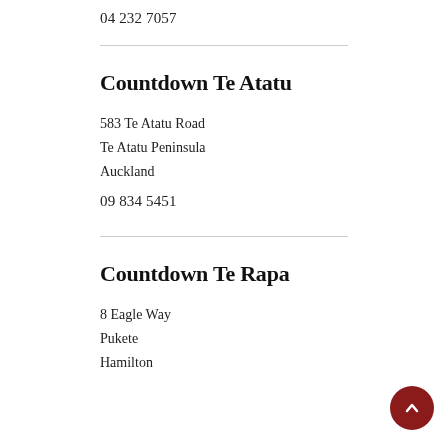04 232 7057
Countdown Te Atatu
583 Te Atatu Road
Te Atatu Peninsula
Auckland
09 834 5451
Countdown Te Rapa
8 Eagle Way
Pukete
Hamilton